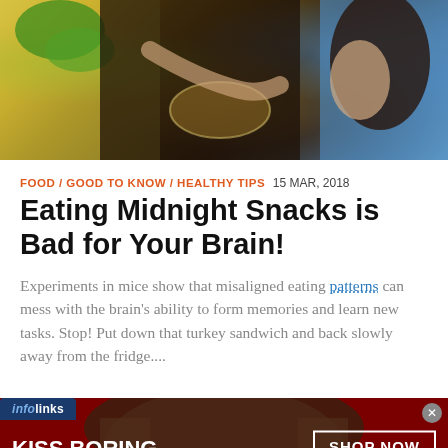[Figure (photo): Woman eating snacks near a refrigerator at night, with green vegetables visible on left and blue-lit background]
FOOD / GOOD TO KNOW / HEALTHY TIPS  15 MAR, 2018
Eating Midnight Snacks is Bad for Your Brain!
Experiments in mice show that misaligned eating patterns can mess with the brain's ability to form memories and learn new tasks. Stop! Put down that turkey sandwich and back slowly away from the fridge....
[Figure (photo): Infolinks advertisement banner for Macy's lip products: 'KISS BORING LIPS GOODBYE' with SHOP NOW button and Macy's star logo, featuring close-up of woman's red lips]